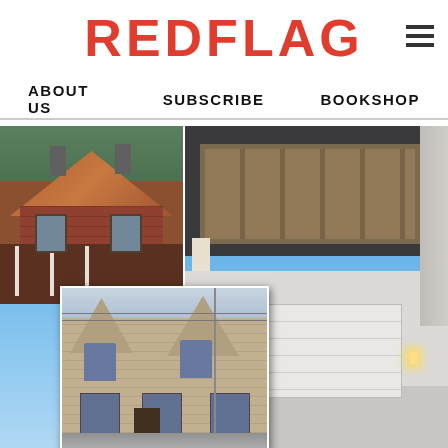REDFLAG
ABOUT US   SUBSCRIBE   BOOKSHOP
[Figure (photo): Collage of three house photos: Victorian-era brick house (top left), stone terrace house (bottom left overlay), and modern two-storey dark grey and white house (right, large). The modern house features a cantilevered upper floor with large windows, and a white garage door below with wall-mounted lights.]